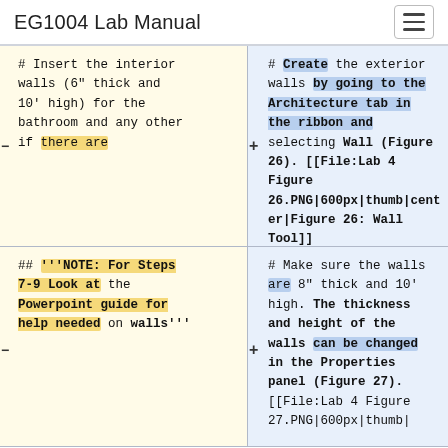EG1004 Lab Manual
# Insert the interior walls (6” thick and 10’ high) for the bathroom and any other if there are
# Create the exterior walls by going to the Architecture tab in the ribbon and selecting Wall (Figure 26). [[File:Lab 4 Figure 26.PNG|600px|thumb|center|Figure 26: Wall Tool]]
## '''NOTE: For Steps 7-9 Look at the Powerpoint guide for help needed on walls'''
# Make sure the walls are 8” thick and 10’ high. The thickness and height of the walls can be changed in the Properties panel (Figure 27). [[File:Lab 4 Figure 27.PNG|600px|thumb|